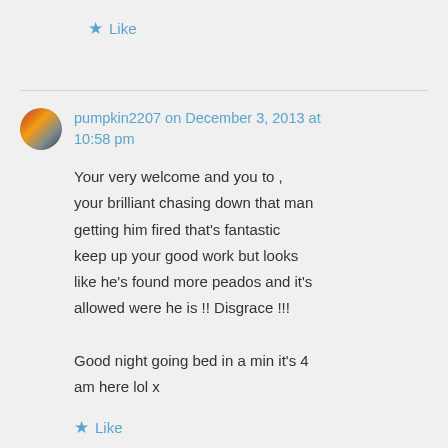★ Like
pumpkin2207 on December 3, 2013 at 10:58 pm
Your very welcome and you to , your brilliant chasing down that man getting him fired that's fantastic keep up your good work but looks like he's found more peados and it's allowed were he is !! Disgrace !!!

Good night going bed in a min it's 4 am here lol x
★ Like